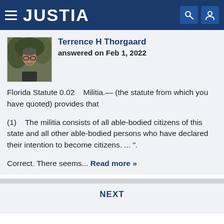JUSTIA
Terrence H Thorgaard
answered on Feb 1, 2022
Florida Statute 0.02    Militia.— (the statute from which you have quoted) provides that
(1)    The militia consists of all able-bodied citizens of this state and all other able-bodied persons who have declared their intention to become citizens. ... ".
Correct. There seems... Read more »
NEXT